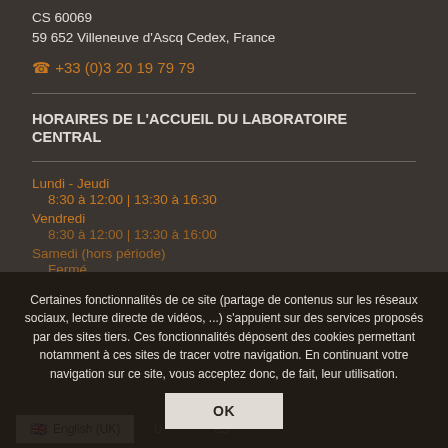CS 60069
59 652 Villeneuve d'Ascq Cedex, France
☎ +33 (0)3 20 19 79 79
HORAIRES DE L'ACCUEIL DU LABORATOIRE CENTRAL
Lundi - Jeudi
    8:30 à 12:00 | 13:30 à 16:30
Vendredi
    8:30 à 12:00 | 13:30 à 16:00
Samedi (hors période)
    Fermé
Certaines fonctionnalités de ce site (partage de contenus sur les réseaux sociaux, lecture directe de vidéos, ...) s'appuient sur des services proposés par des sites tiers. Ces fonctionnalités déposent des cookies permettant notamment à ces sites de tracer votre navigation. En continuant votre navigation sur ce site, vous acceptez donc, de fait, leur utilisation.
OK
English (UK)